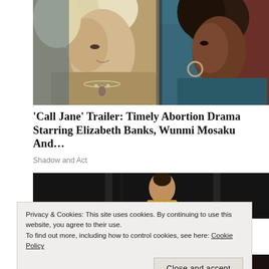[Figure (photo): Movie still showing two women in profile: a blonde white woman wearing a beige jacket and pearl necklace on the left, and a Black woman with braided hair and a hoop earring on the right, against teal/dark backgrounds.]
'Call Jane' Trailer: Timely Abortion Drama Starring Elizabeth Banks, Wunmi Mosaku And…
Shadow and Act
[Figure (photo): Partial view of a second movie/entertainment image with dark background and a person in a gold/sparkly outfit, partially obscured by a cookie consent banner.]
Privacy & Cookies: This site uses cookies. By continuing to use this website, you agree to their use.
To find out more, including how to control cookies, see here: Cookie Policy
Close and accept